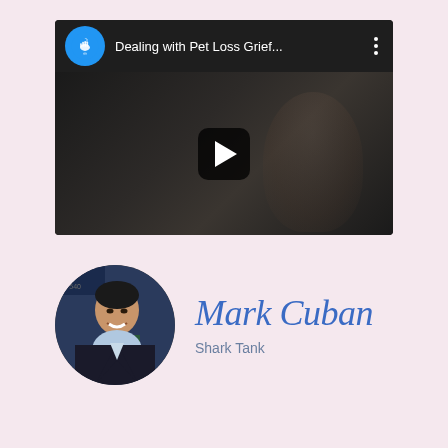[Figure (screenshot): YouTube-style video thumbnail showing 'Dealing with Pet Loss Grief...' with a channel icon (blue circle with hand/infinity logo), dark video frame with a play button, and three-dot menu icon. The video shows a dark silhouette of a person's face.]
[Figure (photo): Circular cropped headshot photo of Mark Cuban smiling, wearing a collared shirt, with a TV studio backdrop visible. Cursive signature-style text 'Mark Cuban' in blue to the right, with 'Shark Tank' subtitle below.]
Mark Cuban
Shark Tank